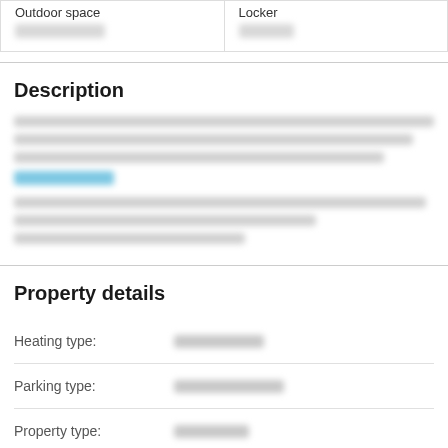| Outdoor space | Locker |
| --- | --- |
| [redacted] | [redacted] |
Description
[Redacted description text with link]
Property details
Heating type: [redacted]
Parking type: [redacted]
Property type: [redacted]